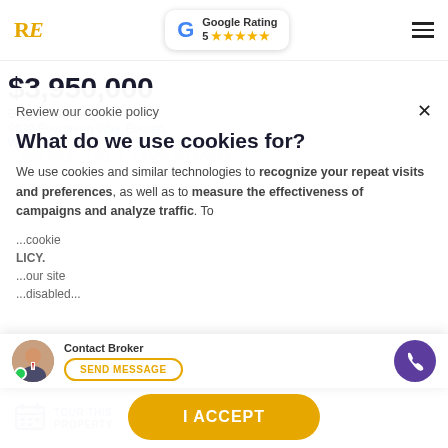[Figure (screenshot): Website header with RE logo, Google Rating badge showing 5 stars, and hamburger menu icon]
$3,950,000
Glacier Lanes
9630 Evergreen Way, Everett,
Review our cookie policy
What do we use cookies for?
We use cookies and similar technologies to recognize your repeat visits and preferences, as well as to measure the effectiveness of campaigns and analyze traffic. To...
cookie...LICY...our site...disabled...
Contact Broker
SEND MESSAGE
TOUR THIS PROPERTY
I ACCEPT